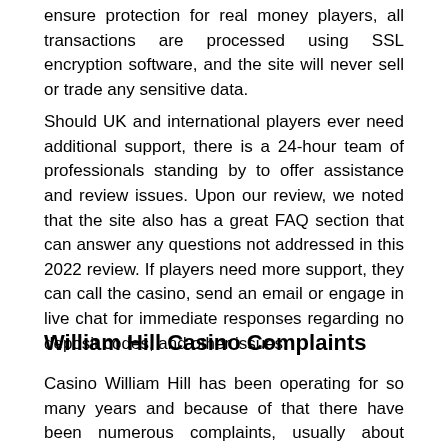ensure protection for real money players, all transactions are processed using SSL encryption software, and the site will never sell or trade any sensitive data.
Should UK and international players ever need additional support, there is a 24-hour team of professionals standing by to offer assistance and review issues. Upon our review, we noted that the site also has a great FAQ section that can answer any questions not addressed in this 2022 review. If players need more support, they can call the casino, send an email or engage in live chat for immediate responses regarding no deposit codes, and other issues.
William Hill Casino Complaints
Casino William Hill has been operating for so many years and because of that there have been numerous complaints, usually about payout withdrawal speeds and bonus redemption. The site has no major complaints that